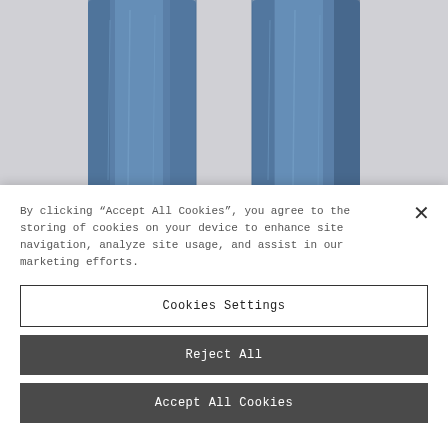[Figure (photo): Product photo of blue denim jeans displayed against a light gray background, showing the front of two legs of jeans with faded wash detail.]
By clicking “Accept All Cookies”, you agree to the storing of cookies on your device to enhance site navigation, analyze site usage, and assist in our marketing efforts.
Cookies Settings
Reject All
Accept All Cookies